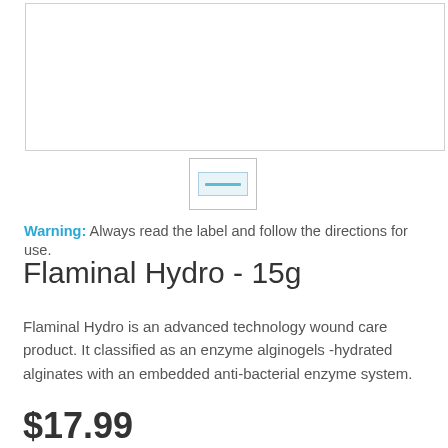[Figure (photo): Product image placeholder — white rectangular box with light border]
[Figure (thumbnail): Small thumbnail image of Flaminal Hydro product packaging]
Warning: Always read the label and follow the directions for use.
Flaminal Hydro - 15g
Flaminal Hydro is an advanced technology wound care product. It classified as an enzyme alginogels -hydrated alginates with an embedded anti-bacterial enzyme system.
$17.99